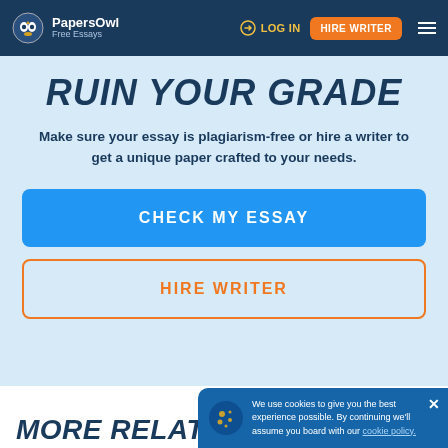PapersOwl Free Essays | LOG IN | HIRE WRITER
RUIN YOUR GRADE
Make sure your essay is plagiarism-free or hire a writer to get a unique paper crafted to your needs.
CHECK MY ESSAY
HIRE WRITER
MORE RELATED ESSAYS
We use cookies to give you the best experience possible. By continuing we'll assume you board with our cookie policy.